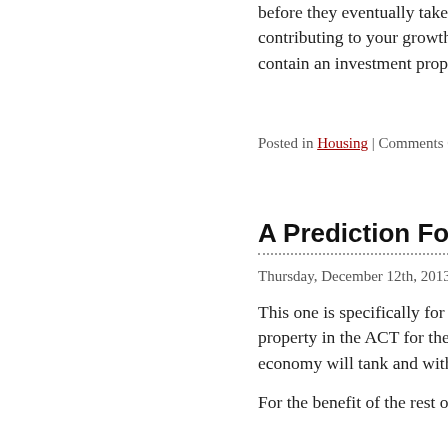before they eventually take away your keys. If you s contributing to your growth asset portfolio (which, contain an investment property or two) nobody ca
Posted in Housing | Comments Off
A Prediction For Canberra
Thursday, December 12th, 2013
This one is specifically for my Canberran friends – d property in the ACT for the next year or so. I predict economy will tank and with it house prices will plum
For the benefit of the rest of the country, the workfor made up of a large amount of federal public servants that the average Aussie hates public servants) as wel private sector who support them. That means there a solicitors, shop assistants and even teachers whose j upon the income generated from what those public se When public servant numbers are cut, and I mean in force thousands of families out of the ACT to find wo states.
How can I be so sure, I hear you say? Because it's ha